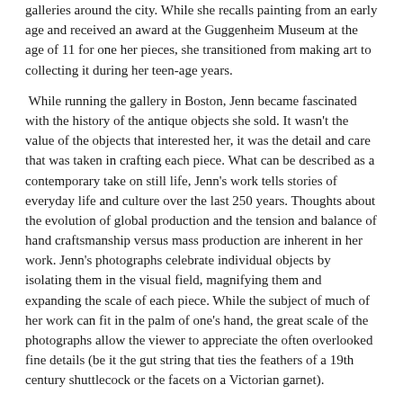galleries around the city. While she recalls painting from an early age and received an award at the Guggenheim Museum at the age of 11 for one her pieces, she transitioned from making art to collecting it during her teen-age years.
While running the gallery in Boston, Jenn became fascinated with the history of the antique objects she sold. It wasn't the value of the objects that interested her, it was the detail and care that was taken in crafting each piece. What can be described as a contemporary take on still life, Jenn's work tells stories of everyday life and culture over the last 250 years. Thoughts about the evolution of global production and the tension and balance of hand craftsmanship versus mass production are inherent in her work. Jenn's photographs celebrate individual objects by isolating them in the visual field, magnifying them and expanding the scale of each piece. While the subject of much of her work can fit in the palm of one's hand, the great scale of the photographs allow the viewer to appreciate the often overlooked fine details (be it the gut string that ties the feathers of a 19th century shuttlecock or the facets on a Victorian garnet).
As an archeologist of material culture—from the 18th century to today—Jenn can be found digging up new pieces at her studio on the Lower East Side of Manhattan.